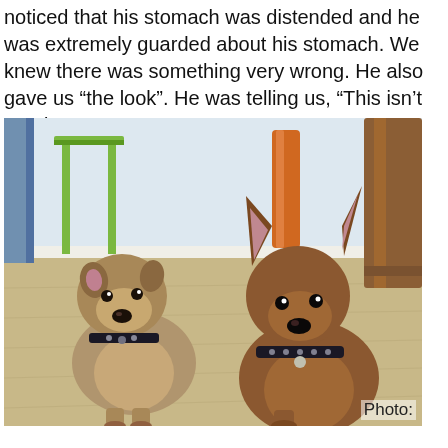noticed that his stomach was distended and he was extremely guarded about his stomach. We knew there was something very wrong. He also gave us “the look”. He was telling us, “This isn’t good, guys!”
[Figure (photo): Two Welsh Terrier dogs sitting indoors on a hardwood floor, looking at the camera. Left dog is lighter in color, right dog is darker brown. Both wear dark collars. Background shows a green stool, orange vase, and wooden furniture.]
Photo: